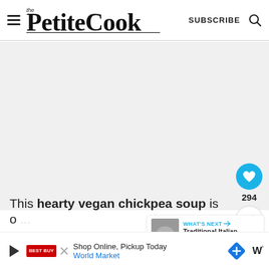the PetiteCook — SUBSCRIBE
[Figure (photo): Large food photo area (white/light gray placeholder)]
294
WHAT'S NEXT → Traditional Italian Pasta...
This hearty vegan chickpea soup is o... hat...
Shop Online, Pickup Today World Market